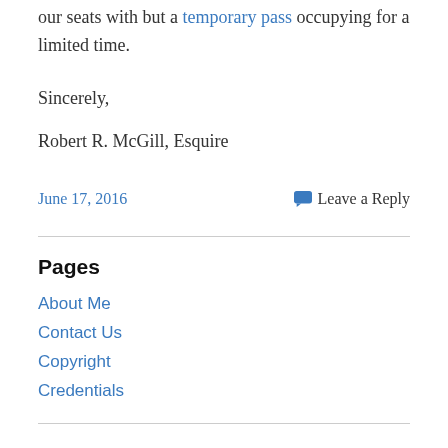our seats with but a temporary pass occupying for a limited time.
Sincerely,
Robert R. McGill, Esquire
June 17, 2016   Leave a Reply
Pages
About Me
Contact Us
Copyright
Credentials